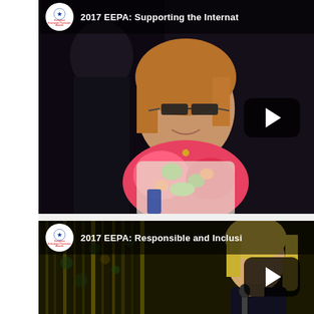[Figure (screenshot): YouTube video thumbnail for '2017 EEPA: Supporting the Internat...' showing a smiling woman with glasses and a colorful floral scarf/wrap, dark background, with a play button overlay and EEPA logo circle in the top bar.]
[Figure (screenshot): YouTube video thumbnail for '2017 EEPA: Responsible and Inclusi...' showing a blonde woman near a microphone against a dark background with golden/green bokeh curtain lights, with a play button overlay and EEPA logo circle in the top bar.]